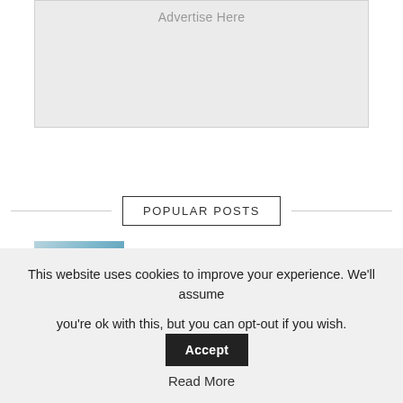[Figure (other): Gray advertisement placeholder box with 'Advertise Here' text]
POPULAR POSTS
[Figure (photo): Thumbnail image showing a poster mock-up design with triangle wireframe and blue background]
70 Free Poster Mockups for Your Professional Design...
[Figure (photo): Thumbnail image partially visible, gray tones, PSD mockup template]
62 Free PSD Mockup Templates for Your...
This website uses cookies to improve your experience. We'll assume you're ok with this, but you can opt-out if you wish. Accept Read More